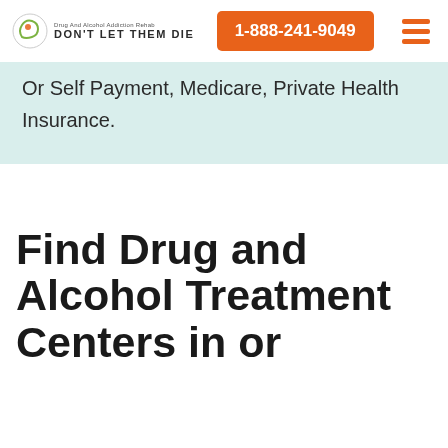DON'T LET THEM DIE | 1-888-241-9049
Or Self Payment, Medicare, Private Health Insurance.
Find Drug and Alcohol Treatment Centers in or